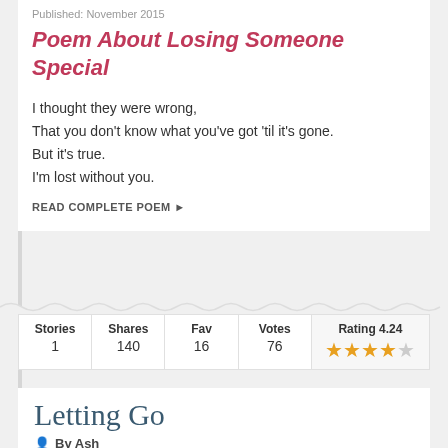Published: November 2015
Poem About Losing Someone Special
I thought they were wrong,
That you don't know what you've got 'til it's gone.
But it's true.
I'm lost without you.
READ COMPLETE POEM ▶
| Stories | Shares | Fav | Votes | Rating 4.24 |
| --- | --- | --- | --- | --- |
| 1 | 140 | 16 | 76 | ★★★★☆ |
Letting Go
By Ash